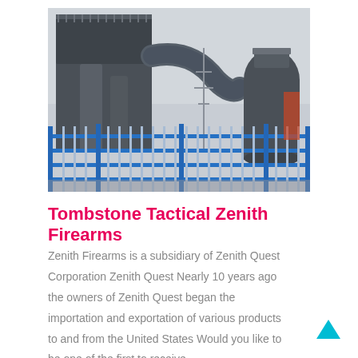[Figure (photo): Industrial facility with large dark metal structures, pipes and ductwork, blue metal fence/railing in foreground, overcast sky, electrical towers visible in background.]
Tombstone Tactical Zenith Firearms
Zenith Firearms is a subsidiary of Zenith Quest Corporation Zenith Quest Nearly 10 years ago the owners of Zenith Quest began the importation and exportation of various products to and from the United States Would you like to be one of the first to receive ...